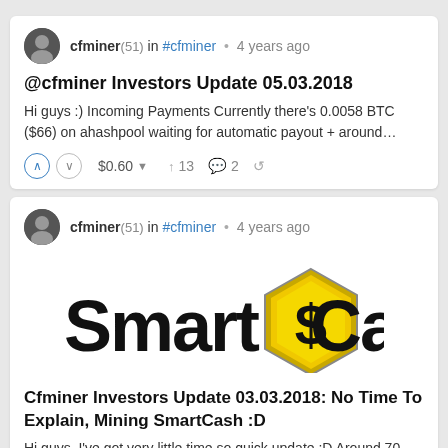cfminer (51) in #cfminer • 4 years ago
@cfminer Investors Update 05.03.2018
Hi guys :) Incoming Payments Currently there's 0.0058 BTC ($66) on ahashpool waiting for automatic payout + around…
$0.60 ▾   ↑ 13   💬 2   ↺
cfminer (51) in #cfminer • 4 years ago
[Figure (logo): SmartCash logo — hexagon badge in gold/yellow with a dollar-sign style S, text 'Smart' on left and 'Cash' on right in large black serif-style font]
Cfminer Investors Update 03.03.2018: No Time To Explain, Mining SmartCash :D
Hi guys, I've got very little time so quick update :D Around 70 USD are waiting on nicehash and ahashpool in BTC.